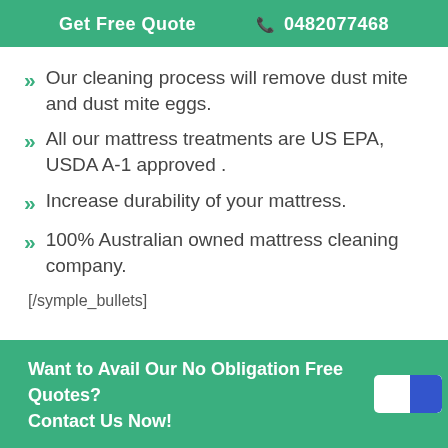Get Free Quote  📞 0482077468
Our cleaning process will remove dust mite and dust mite eggs.
All our mattress treatments are US EPA, USDA A-1 approved .
Increase durability of your mattress.
100% Australian owned mattress cleaning company.
[/symple_bullets]
Want to Avail Our No Obligation Free Quotes? Contact Us Now!